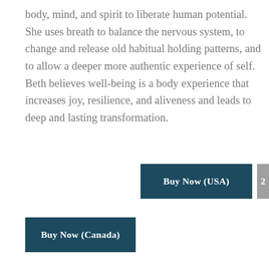body, mind, and spirit to liberate human potential. She uses breath to balance the nervous system, to change and release old habitual holding patterns, and to allow a deeper more authentic experience of self. Beth believes well-being is a body experience that increases joy, resilience, and aliveness and leads to deep and lasting transformation.
[Figure (other): Buy Now (USA) button — dark teal rectangle with white bold text]
[Figure (other): Pagination number '2' — grey rectangle with white bold text, partially visible]
[Figure (other): Buy Now (Canada) button — dark teal rectangle with white bold text]